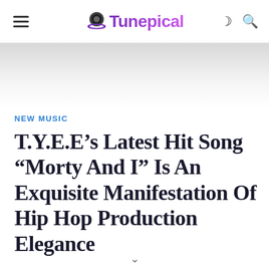Tunepical
NEW MUSIC
T.Y.E.E’s Latest Hit Song “Morty And I” Is An Exquisite Manifestation Of Hip Hop Production Elegance